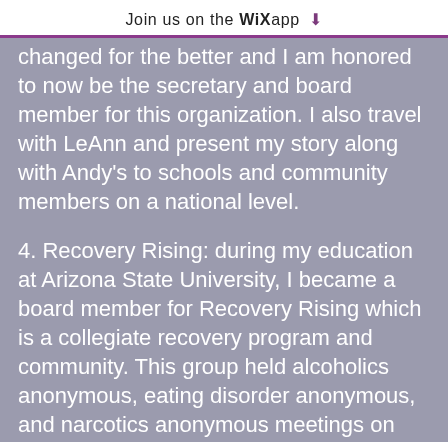Join us on the WiX app ↓
changed for the better and I am honored to now be the secretary and board member for this organization. I also travel with LeAnn and present my story along with Andy's to schools and community members on a national level.
4. Recovery Rising: during my education at Arizona State University, I became a board member for Recovery Rising which is a collegiate recovery program and community. This group held alcoholics anonymous, eating disorder anonymous, and narcotics anonymous meetings on campus,